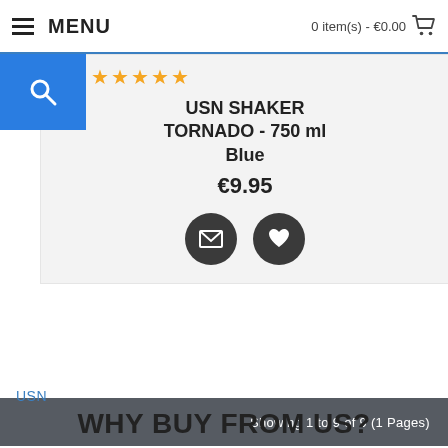MENU   0 item(s) - €0.00
USN SHAKER TORNADO - 750 ml Blue
€9.95
Showing 1 to 9 of 9 (1 Pages)
USN
WHY BUY FROM US?
FREE GIFT
With All Orders!
LOYALTY SCHEME